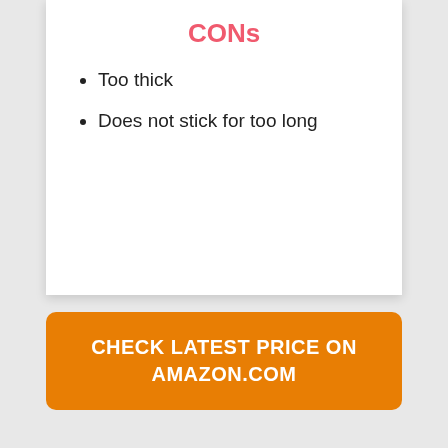CONs
Too thick
Does not stick for too long
CHECK LATEST PRICE ON AMAZON.COM